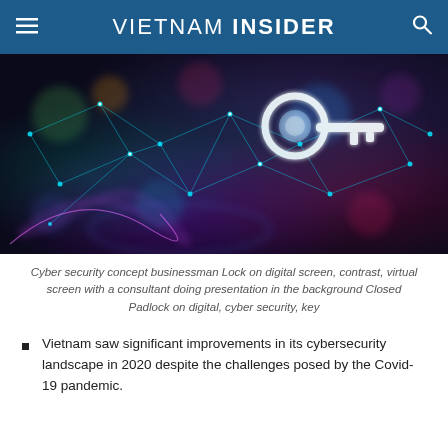VIETNAM INSIDER
[Figure (photo): Digital cybersecurity concept image showing a glowing white key on a network of teal/cyan connected nodes and lines against a dark multicolored background with purple swirls and bokeh lights.]
Cyber security concept businessman Lock on digital screen, contrast, virtual screen with a consultant doing presentation in the background Closed Padlock on digital, cyber security, key
Vietnam saw significant improvements in its cybersecurity landscape in 2020 despite the challenges posed by the Covid-19 pandemic.